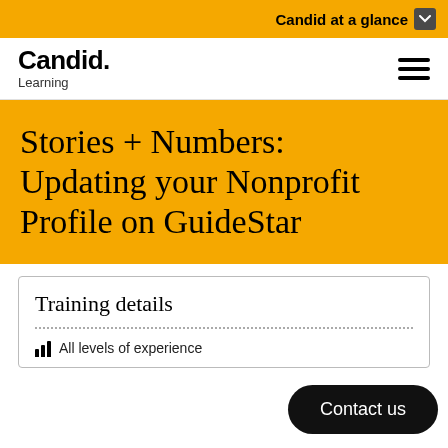Candid at a glance
Candid. Learning
Stories + Numbers: Updating your Nonprofit Profile on GuideStar
Training details
All levels of experience
Contact us